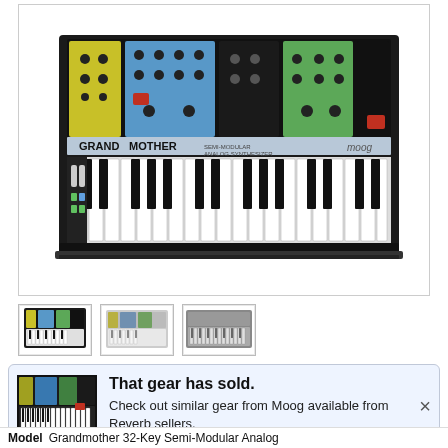[Figure (photo): Moog Grandmother 32-Key Semi-Modular Analog Synthesizer keyboard instrument shown from a front-top angle. The synth has a black body with colorful panel sections (yellow, blue, green) with knobs and controls on top, and a 32-key black-and-white keyboard below.]
[Figure (photo): Small thumbnail image of the Moog Grandmother synthesizer, front view with colorful panel.]
[Figure (photo): Small thumbnail image of the Moog Grandmother synthesizer, slightly different angle.]
[Figure (photo): Small thumbnail image showing the synthesizer panel controls close-up.]
[Figure (photo): Small image of Moog Grandmother synthesizer used as notification icon.]
That gear has sold.
Check out similar gear from Moog available from Reverb sellers.
Model    Grandmother 32-Key Semi-Modular Analog